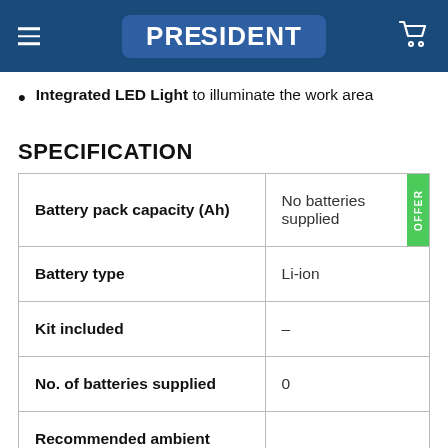PRESIDENT
Integrated LED Light to illuminate the work area
SPECIFICATION
|  |  |
| --- | --- |
| Battery pack capacity (Ah) | No batteries supplied |
| Battery type | Li-ion |
| Kit included | – |
| No. of batteries supplied | 0 |
| Recommended ambient |  |